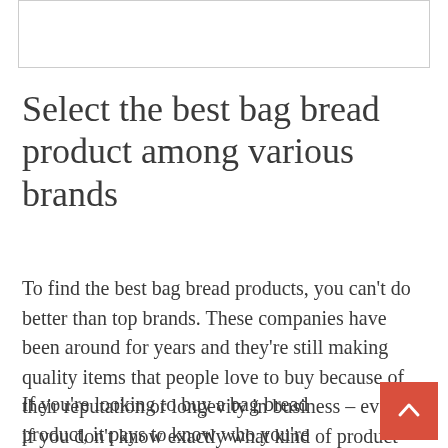[Figure (other): Rectangular image placeholder box with border at top of page]
Select the best bag bread product among various brands
To find the best bag bread products, you can't do better than top brands. These companies have been around for years and they're still making quality items that people love to buy because of their reputation or longevity in business – even if you don't know exactly what kind of product is being sold by each one.
If you're looking to buy a bag bread product, it pays to know who you're getting it from. We only work with reputable sellers that are committed